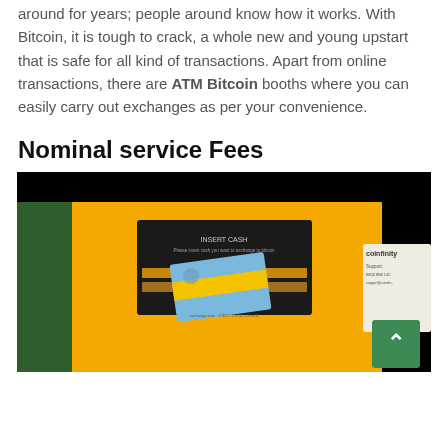around for years; people around know how it works. With Bitcoin, it is tough to crack, a whole new and young upstart that is safe for all kind of transactions. Apart from online transactions, there are ATM Bitcoin booths where you can easily carry out exchanges as per your convenience.
Nominal service Fees
[Figure (photo): Photo of a yellow Bitcoin ATM machine (Coinfinity branded) with a dark screen showing 'INSERT CASH' text and a card/note slot. A blue and yellow card is visible. Green panel on left side. Coinfinity support label on right.]